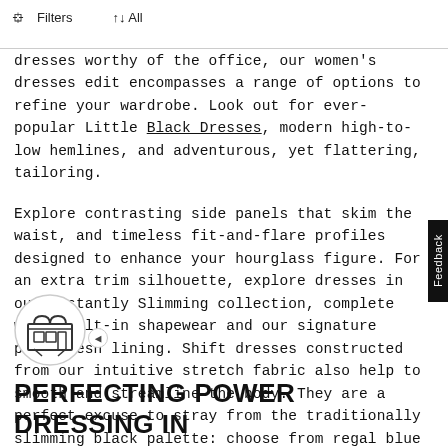Filters  ↑↓ All
dresses worthy of the office, our women's dresses edit encompasses a range of options to refine your wardrobe. Look out for ever-popular Little Black Dresses, modern high-to-low hemlines, and adventurous, yet flattering, tailoring.

Explore contrasting side panels that skim the waist, and timeless fit-and-flare profiles designed to enhance your hourglass figure. For an extra trim silhouette, explore dresses in our Instantly Slimming collection, complete with built-in shapewear and our signature power-mesh lining. Shift dresses constructed from our intuitive stretch fabric also help to smooth and streamline the body. They are a perfect excuse to stray from the traditionally slimming black palette: choose from regal blue hues and feminine pastel tones to inject a pop of color into a refined ensemble.
PERFECTING POWER DRESSING IN